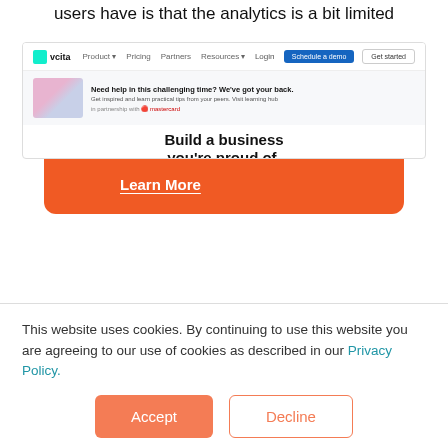users have is that the analytics is a bit limited
[Figure (screenshot): Orange notification popup banner with avatar, text reading 'New! Do you drive leads from your company's G2 page? Start bringing in meetings, not just leads with our new G2 integration!' and a 'Learn More' underlined link, plus a close X button. Below is a screenshot of the vcita website homepage showing navbar, hero section with 'Build a business you're proud of.' headline and 'Manage clients, appointments & payments' subtitle.]
This website uses cookies. By continuing to use this website you are agreeing to our use of cookies as described in our Privacy Policy.